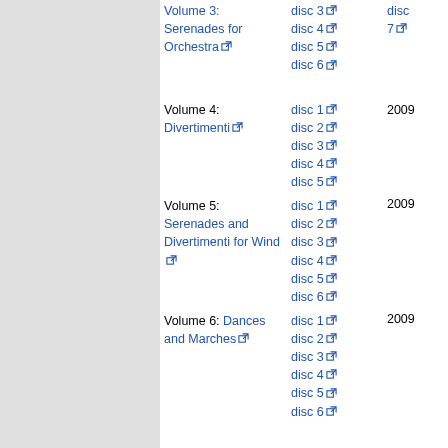| Volume | Discs | Year |
| --- | --- | --- |
| Volume 3: Serenades for Orchestra | disc 3, disc 4, disc 5, disc 6 | disc 7 |
| Volume 4: Divertimenti | disc 1, disc 2, disc 3, disc 4, disc 5 | 2009 |
| Volume 5: Serenades and Divertimenti for Wind | disc 1, disc 2, disc 3, disc 4, disc 5, disc 6 | 2009 |
| Volume 6: Dances and Marches | disc 1, disc 2, disc 3, disc 4, disc 5, disc 6 | 2009 |